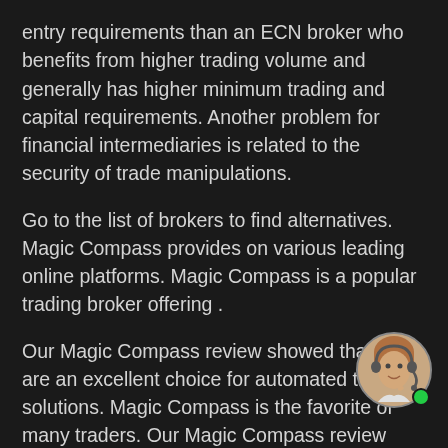entry requirements than an ECN broker who benefits from higher trading volume and generally has higher minimum trading and capital requirements. Another problem for financial intermediaries is related to the security of trade manipulations.
Go to the list of brokers to find alternatives. Magic Compass provides on various leading online platforms. Magic Compass is a popular trading broker offering .
Our Magic Compass review showed that they are an excellent choice for automated trading solutions. Magic Compass is the favorite of many traders. Our Magic Compass review showed that they are a great alternative to automated trading solutions.
Magic Compass is a dynamic platform offering a variety